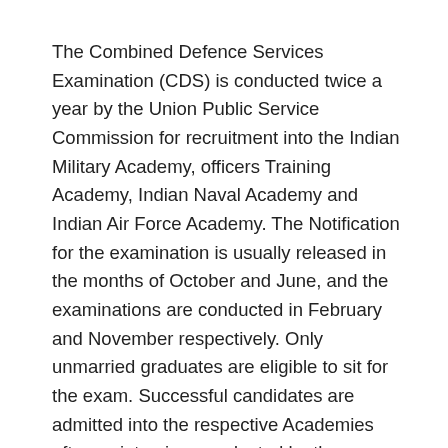The Combined Defence Services Examination (CDS) is conducted twice a year by the Union Public Service Commission for recruitment into the Indian Military Academy, officers Training Academy, Indian Naval Academy and Indian Air Force Academy. The Notification for the examination is usually released in the months of October and June, and the examinations are conducted in February and November respectively. Only unmarried graduates are eligible to sit for the exam. Successful candidates are admitted into the respective Academies after an interview conducted by the Services Selection Board (SSB).